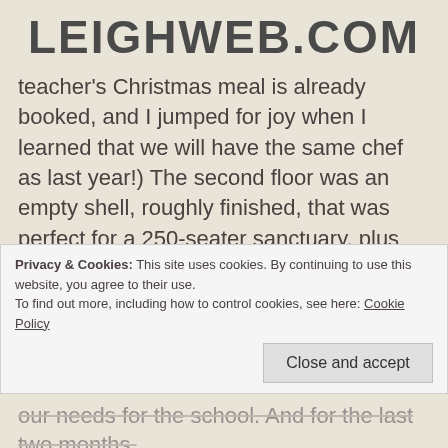LEIGHWEB.COM
teacher's Christmas meal is already booked, and I jumped for joy when I learned that we will have the same chef as last year!) The second floor was an empty shell, roughly finished, that was perfect for a 250-seater sanctuary, plus room for our dancers and banner-wavers who have been cramped for a long time now.
The drawback? What else? The rent for these 3 areas is triple what we are currently paying and we still needed to pay for all the materials to finish the
Privacy & Cookies: This site uses cookies. By continuing to use this website, you agree to their use.
To find out more, including how to control cookies, see here: Cookie Policy
Close and accept
our needs for the school. And for the last two months,